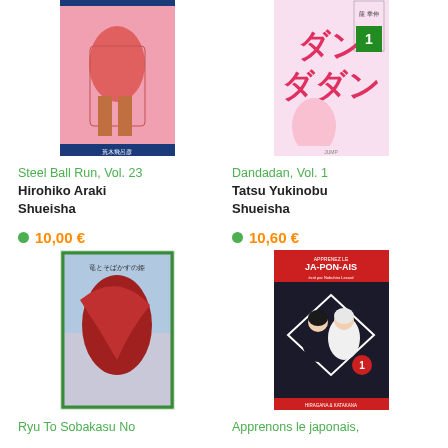[Figure (illustration): Book cover: Steel Ball Run Vol. 23, manga cover with pink background, muscular figure, by Hirohiko Araki]
[Figure (illustration): Book cover: Dandadan Vol. 1, manga cover with colorful Japanese characters, by Tatsu Yukinobu]
Steel Ball Run, Vol. 23
Hirohiko Araki
Shueisha
Dandadan, Vol. 1
Tatsu Yukinobu
Shueisha
• 10,00 €
• 10,60 €
[Figure (illustration): Book cover: Ryu To Sobakasu No Hime, anime movie art with dark red bird figure and Japanese text, green border]
[Figure (illustration): Book cover: Apprenons le japonais Vol. 1, illustrated cover showing two anime-style girls]
Ryu To Sobakasu No
Apprenons le japonais,